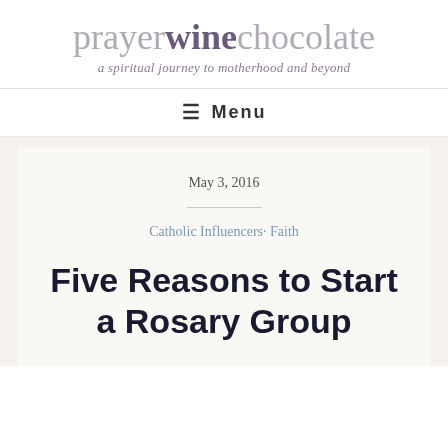prayerwinechocolate — a spiritual journey to motherhood and beyond
≡ Menu
May 3, 2016
Catholic Influencers· Faith
Five Reasons to Start a Rosary Group